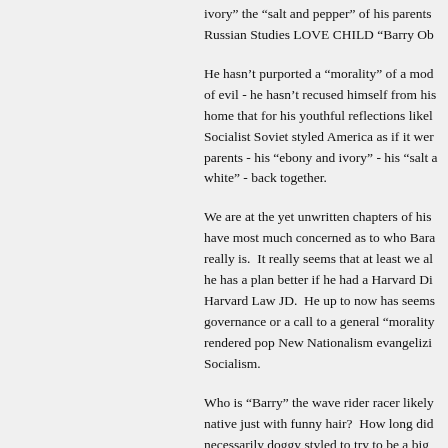ivory” the “salt and pepper” of his parents Russian Studies LOVE CHILD “Barry Ob
He hasn’t purported a “morality” of a mod of evil - he hasn’t recused himself from his home that for his youthful reflections likel Socialist Soviet styled America as if it wer parents - his “ebony and ivory” - his “salt a white” - back together.
We are at the yet unwritten chapters of his have most much concerned as to who Bara really is. It really seems that at least we al he has a plan better if he had a Harvard Di Harvard Law JD. He up to now has seems governance or a call to a general “morality rendered pop New Nationalism evangelizi Socialism.
Who is “Barry” the wave rider racer likely native just with funny hair? How long did necessarily doggy styled to try to be a big enough wave before he was Senator Obam TEN? Is he from his troubled youth of his again firstly of the love as a SOVIET STU